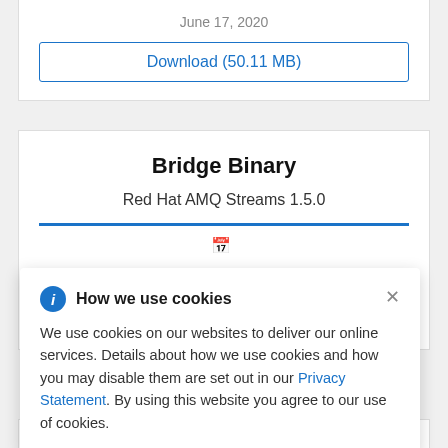June 17, 2020
Download (50.11 MB)
Bridge Binary
Red Hat AMQ Streams 1.5.0
How we use cookies
We use cookies on our websites to deliver our online services. Details about how we use cookies and how you may disable them are set out in our Privacy Statement. By using this website you agree to our use of cookies.